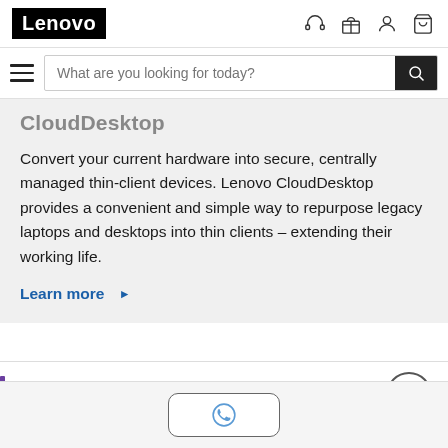Lenovo
Convert your current hardware into secure, centrally managed thin-client devices. Lenovo CloudDesktop provides a convenient and simple way to repurpose legacy laptops and desktops into thin clients – extending their working life.
Learn more ▶
Data center software